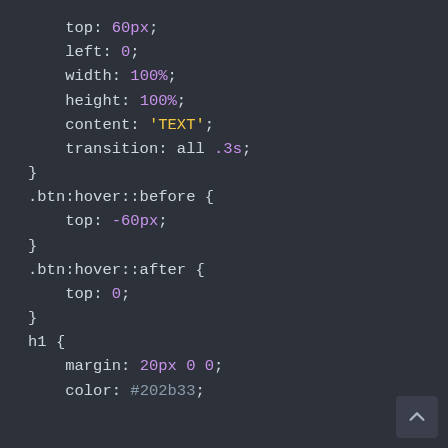top: 60px;
    left: 0;
    width: 100%;
    height: 100%;
    content: 'TEXT';
    transition: all .3s;
}
.btn:hover::before {
    top: -60px;
}
.btn:hover::after {
    top: 0;
}
h1 {
    margin: 20px 0 0;
    color: #202b33;